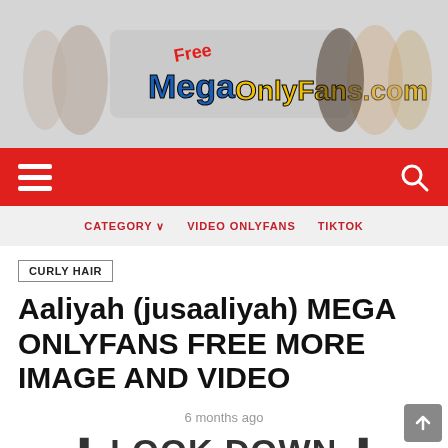[Figure (logo): FreeOnlyFans.com website header banner with multiple women and stylized colorful logo text reading 'Free MegaOnlyFans.com']
Navigation bar with hamburger menu and search icon on red background
CATEGORY  VIDEO ONLYFANS  TIKTOK
CURLY HAIR
Aaliyah (jusaaliyah) MEGA ONLYFANS FREE MORE IMAGE AND VIDEO
6 months ago
⬇ LOOK DOWN ⬇